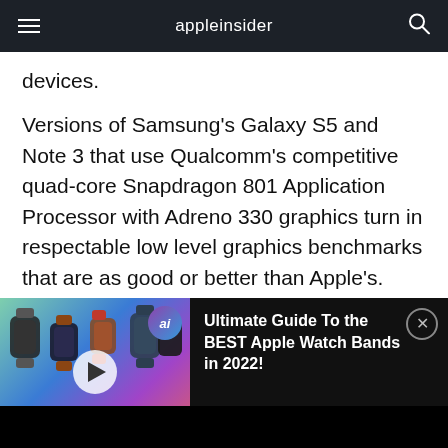appleinsider
devices.
Versions of Samsung's Galaxy S5 and Note 3 that use Qualcomm's competitive quad-core Snapdragon 801 Application Processor with Adreno 330 graphics turn in respectable low level graphics benchmarks that are as good or better than Apple's. However, in higher level tests of OpenGL APIs— which simulate how video game graphics will actually render—
[Figure (screenshot): Video player bar at bottom of screen showing Apple Watch bands promotional video thumbnail with play button, 'ai' logo, close button, and title 'Ultimate Guide To the BEST Apple Watch Bands in 2022!']